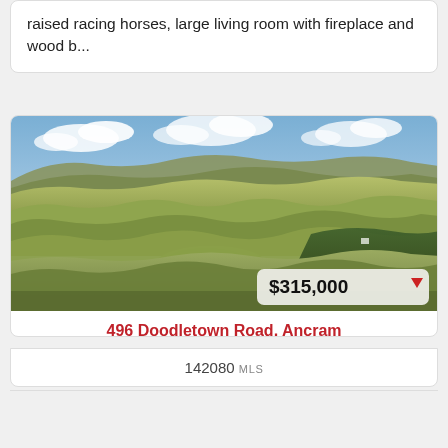raised racing horses, large living room with fireplace and wood b...
[Figure (photo): Aerial view of forested hills and fields in Ancram, NY. Price badge shows $315,000 with a red down arrow.]
496 Doodletown Road, Ancram
142080 MLS